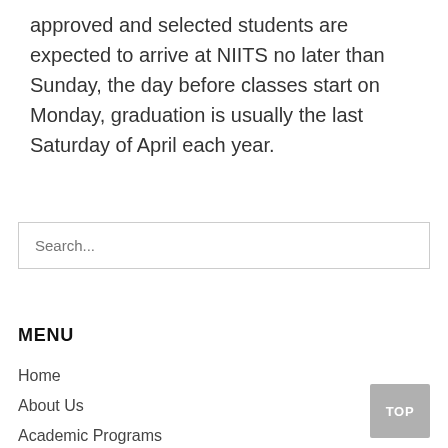approved and selected students are expected to arrive at NIITS no later than Sunday, the day before classes start on Monday, graduation is usually the last Saturday of April each year.
Search...
MENU
Home
About Us
Academic Programs